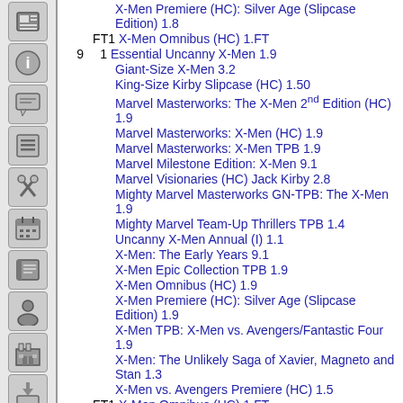X-Men Premiere (HC): Silver Age (Slipcase Edition) 1.8
FT1  X-Men Omnibus (HC) 1.FT
9  1  Essential Uncanny X-Men 1.9
Giant-Size X-Men 3.2
King-Size Kirby Slipcase (HC) 1.50
Marvel Masterworks: The X-Men 2nd Edition (HC) 1.9
Marvel Masterworks: X-Men (HC) 1.9
Marvel Masterworks: X-Men TPB 1.9
Marvel Milestone Edition: X-Men 9.1
Marvel Visionaries (HC) Jack Kirby 2.8
Mighty Marvel Masterworks GN-TPB: The X-Men 1.9
Mighty Marvel Team-Up Thrillers TPB 1.4
Uncanny X-Men Annual (I) 1.1
X-Men: The Early Years 9.1
X-Men Epic Collection TPB 1.9
X-Men Omnibus (HC) 1.9
X-Men Premiere (HC): Silver Age (Slipcase Edition) 1.9
X-Men TPB: X-Men vs. Avengers/Fantastic Four 1.9
X-Men: The Unlikely Saga of Xavier, Magneto and Stan 1.3
X-Men vs. Avengers Premiere (HC) 1.5
FT1  X-Men Omnibus (HC) 1.FT
X-Men: The Unlikely Saga of Xavier,